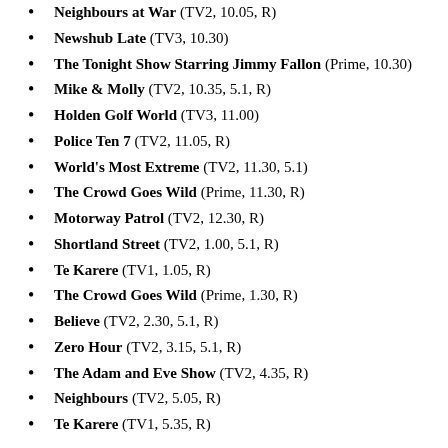Neighbours at War (TV2, 10.05, R)
Newshub Late (TV3, 10.30)
The Tonight Show Starring Jimmy Fallon (Prime, 10.30)
Mike & Molly (TV2, 10.35, 5.1, R)
Holden Golf World (TV3, 11.00)
Police Ten 7 (TV2, 11.05, R)
World's Most Extreme (TV2, 11.30, 5.1)
The Crowd Goes Wild (Prime, 11.30, R)
Motorway Patrol (TV2, 12.30, R)
Shortland Street (TV2, 1.00, 5.1, R)
Te Karere (TV1, 1.05, R)
The Crowd Goes Wild (Prime, 1.30, R)
Believe (TV2, 2.30, 5.1, R)
Zero Hour (TV2, 3.15, 5.1, R)
The Adam and Eve Show (TV2, 4.35, R)
Neighbours (TV2, 5.05, R)
Te Karere (TV1, 5.35, R)
Friday
Family Feud (TV3, 5.25)
Home and Away (TV2, 5.30)